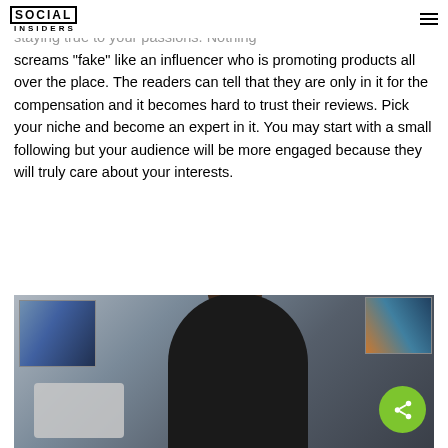Social Insiders
...the first step in being a reliable authority is staying true to your passions. Nothing screams “fake” like an influencer who is promoting products all over the place. The readers can tell that they are only in it for the compensation and it becomes hard to trust their reviews. Pick your niche and become an expert in it. You may start with a small following but your audience will be more engaged because they will truly care about your interests.
[Figure (photo): A man wearing glasses and a black shirt sits working at a laptop, with abstract artwork visible on the wall behind him. A green share button is overlaid in the bottom-right corner of the image.]